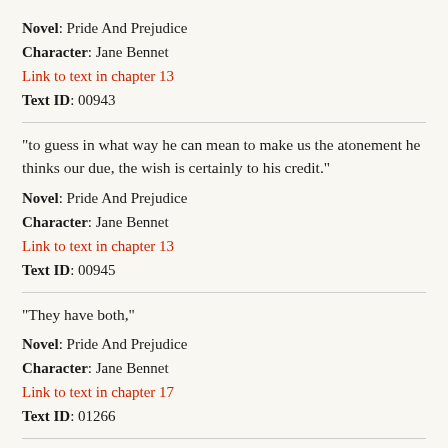Novel: Pride And Prejudice
Character: Jane Bennet
Link to text in chapter 13
Text ID: 00943
“to guess in what way he can mean to make us the atonement he thinks our due, the wish is certainly to his credit.”
Novel: Pride And Prejudice
Character: Jane Bennet
Link to text in chapter 13
Text ID: 00945
“They have both,”
Novel: Pride And Prejudice
Character: Jane Bennet
Link to text in chapter 17
Text ID: 01266
“been deceived, I dare say, in some way or other, of which we can form no idea. Interested people have perhaps misrepresented each to the other. It is, in short, impossible for us to conjecture